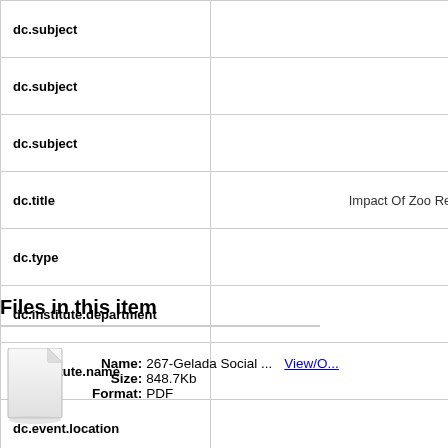| Field | Value |
| --- | --- |
| dc.subject |  |
| dc.subject |  |
| dc.subject |  |
| dc.title | Impact Of Zoo Reside... |
| dc.type |  |
| dc.institute.department | S... |
| dc.institute.name |  |
| dc.event.location |  |
| dc.event.name |  |
Files in this item
Name: 267-Gelada Social ...   Size: 848.7Kb   Format: PDF
View/O...